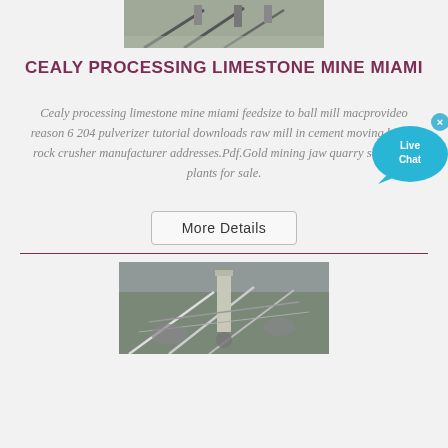[Figure (photo): Aerial/ground view of a limestone mine or quarry with conveyor belts and machinery]
CEALY PROCESSING LIMESTONE MINE MIAMI
Cealy processing limestone mine miami feedsize to ball mill macprovideo reason 6 204 pulverizer tutorial downloads raw mill in cement moving basalt rock crusher manufacturer addresses.Pdf.Gold mining jaw quarry screening plants for sale.
[Figure (other): Live Chat widget button]
[Figure (photo): Ground-level view of a quarry or mining site with conveyors and machinery]